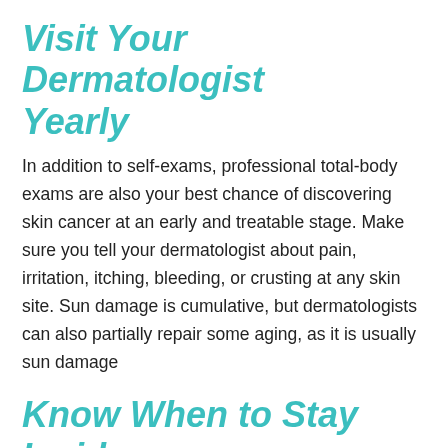Visit Your Dermatologist Yearly
In addition to self-exams, professional total-body exams are also your best chance of discovering skin cancer at an early and treatable stage. Make sure you tell your dermatologist about pain, irritation, itching, bleeding, or crusting at any skin site. Sun damage is cumulative, but dermatologists can also partially repair some aging, as it is usually sun damage
Know When to Stay Inside
The sun’s rays are strongest from 10 am to 4 pm., and it’s recommended to stay inside or in a shaded area during these hours. However, protecting yourself from sun damage doesn’t mean you can never go outside! Use a sun shade or